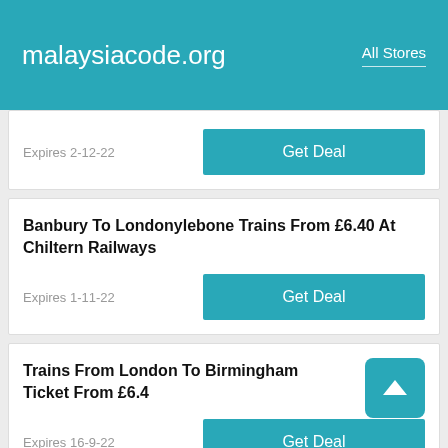malaysiacode.org  All Stores
Expires 2-12-22
Get Deal
Banbury To Londonylebone Trains From £6.40 At Chiltern Railways
Expires 1-11-22
Get Deal
Trains From London To Birmingham Ticket From £6.4
Expires 16-9-22
Get Deal